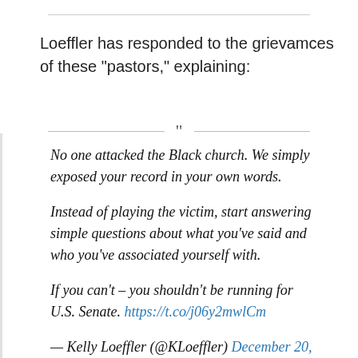Loeffler has responded to the grievamces of these “pastors,” explaining:
No one attacked the Black church. We simply exposed your record in your own words.

Instead of playing the victim, start answering simple questions about what you’ve said and who you’ve associated yourself with.

If you can’t – you shouldn’t be running for U.S. Senate. https://t.co/j06y2mwlCm

— Kelly Loeffler (@KLoeffler) December 20,